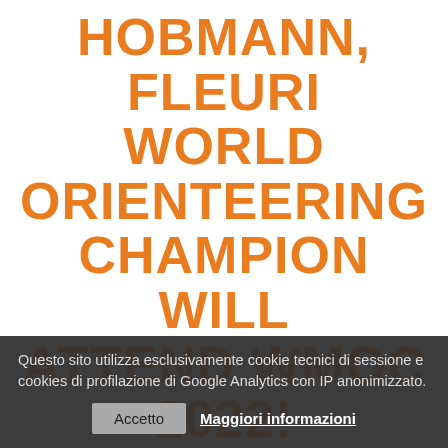HOBMANN, FLEURI WORLD ORIENTEERING CHAMPION WILL ATTEND WMOC 2022!
News - 21 May 2022
[Figure (photo): Landscape photo showing a hillside town with white buildings under a blue sky with white clouds]
Questo sito utilizza esclusivamente cookie tecnici di sessione e cookies di profilazione di Google Analytics con IP anonimizzato.
Accetto   Maggiori informazioni